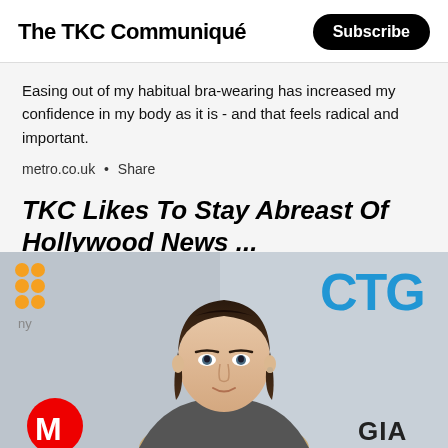The TKC Communiqué
Easing out of my habitual bra-wearing has increased my confidence in my body as it is - and that feels radical and important.
metro.co.uk • Share
TKC Likes To Stay Abreast Of Hollywood News ...
[Figure (photo): A woman with dark hair at what appears to be a media event, with CTG branding visible in the top right, orange dot logo on the left, Motorola logo and GIA text at the bottom]